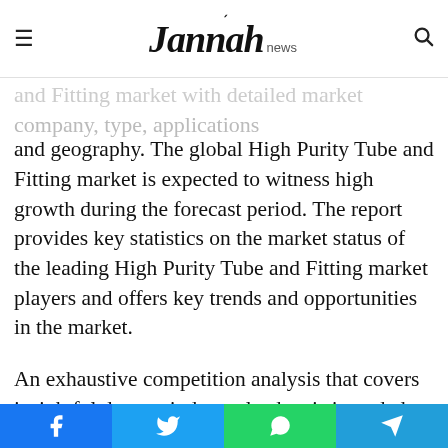Jannah news
and Fitting market with detailed market company, type, applications and geography. The global High Purity Tube and Fitting market is expected to witness high growth during the forecast period. The report provides key statistics on the market status of the leading High Purity Tube and Fitting market players and offers key trends and opportunities in the market.
An exhaustive competition analysis that covers insightful data on industry leaders is intended to help potential market entrants and existing players in competition with the right direction to arrive at their decisions. Market structure analysis discusses in detail High Purity Tube
Facebook | Twitter | WhatsApp | Telegram